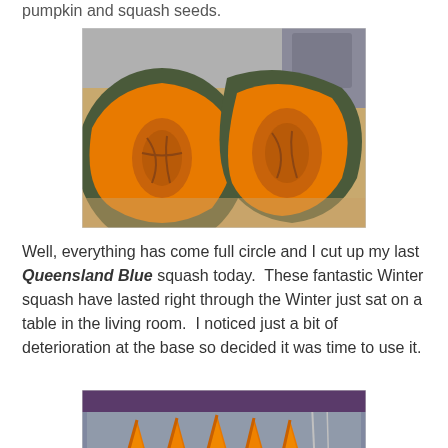pumpkin and squash seeds.
[Figure (photo): A cut open Queensland Blue squash/pumpkin showing bright orange flesh and seeds, photographed on a wooden cutting board with kitchen items in background.]
Well, everything has come full circle and I cut up my last Queensland Blue squash today.  These fantastic Winter squash have lasted right through the Winter just sat on a table in the living room.  I noticed just a bit of deterioration at the base so decided it was time to use it.
[Figure (photo): Bright orange squash wedges/slices arranged on a metal baking tray, showing triangular cuts of peeled squash flesh.]